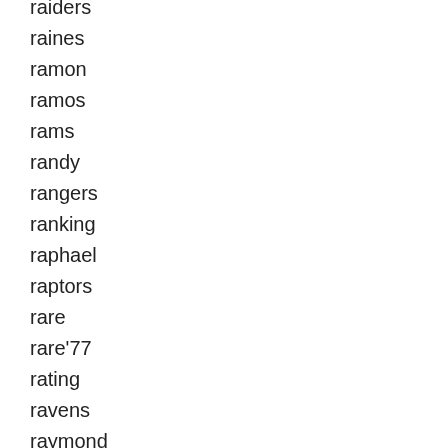raiders
raines
ramon
ramos
rams
randy
rangers
ranking
raphael
raptors
rare
rare'77
rating
ravens
raymond
reaction
reading
real
realmuto
recent
redskins